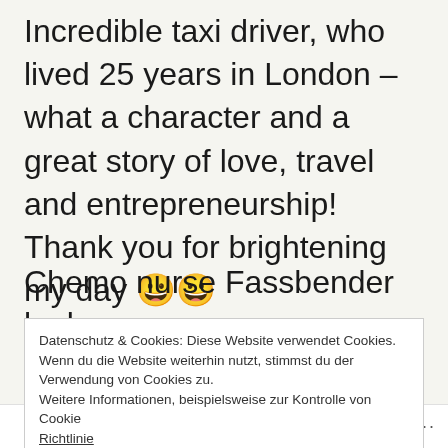Incredible taxi driver, who lived 25 years in London – what a character and a great story of love, travel and entrepreneurship! Thank you for brightening my day 😀😀
Chemo nurse Fassbender looks
Datenschutz & Cookies: Diese Website verwendet Cookies. Wenn du die Website weiterhin nutzt, stimmst du der Verwendung von Cookies zu.
Weitere Informationen, beispielsweise zur Kontrolle von Cookie
Richtlinie
Schließen und Akzeptieren
Abonnieren